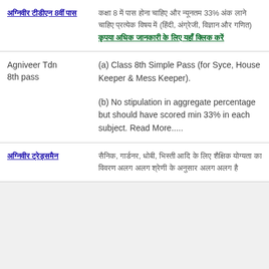| Category | Details |
| --- | --- |
| अग्निवीर टीडीएन 8वीं पास | कक्षा 8 में पास होना चाहिए और न्यूनतम 33% अंक लाने चाहिए प्रत्येक विषय में (हिंदी, अंग्रेजी, विज्ञान और गणित) कृपया अधिक जानकारी के लिए यहाँ क्लिक करें |
| Agniveer Tdn 8th pass | (a) Class 8th Simple Pass (for Syce, House Keeper & Mess Keeper).

(b) No stipulation in aggregate percentage but should have scored min 33% in each subject. Read More..... |
| अग्निवीर ट्रेड्समैन | सैनिक, गार्डनर, धोबी, भिस्ती आदि के लिए शैक्षिक योग्यता का विवरण अलग अलग श्रेणी के अनुसार अलग अलग है |